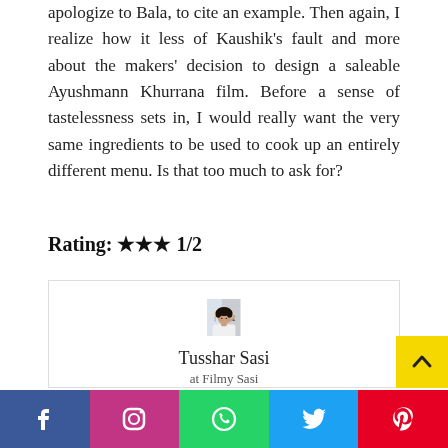apologize to Bala, to cite an example. Then again, I realize how it less of Kaushik's fault and more about the makers' decision to design a saleable Ayushmann Khurrana film. Before a sense of tastelessness sets in, I would really want the very same ingredients to be used to cook up an entirely different menu. Is that too much to ask for?
Rating: ★★★ 1/2
[Figure (photo): Portrait photo of author Tusshar Sasi in a white shirt, dark curly hair, holding phone to ear]
Tusshar Sasi
at Filmy Sasi
[Figure (other): Social media sharing bar with Facebook, Instagram, WhatsApp, Twitter, Pinterest icons]